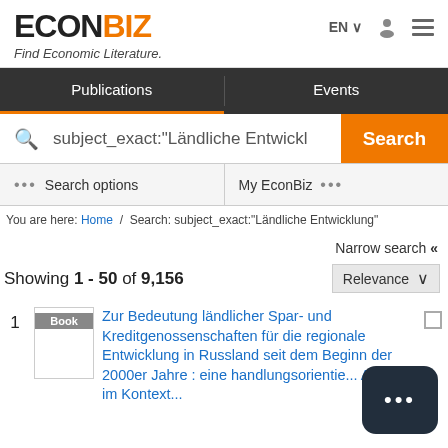[Figure (logo): EconBiz logo with tagline 'Find Economic Literature.']
EN  (person icon)  (menu icon)
Publications | Events
subject_exact:"Ländliche Entwickl  Search
... Search options   My EconBiz ...
You are here: Home / Search: subject_exact:"Ländliche Entwicklung"
Narrow search «
Showing 1 - 50 of 9,156   Relevance
1 Book Zur Bedeutung ländlicher Spar- und Kreditgenossenschaften für die regionale Entwicklung in Russland seit dem Beginn der 2000er Jahre : eine handlungsorientierte Analyse im Kontext...